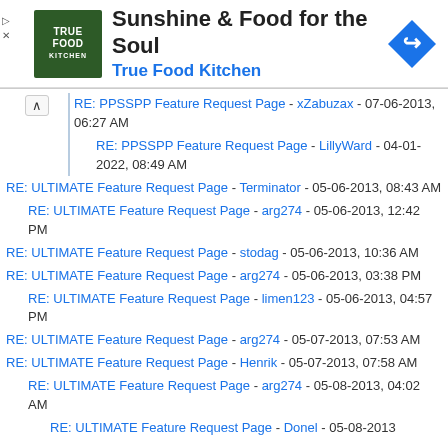[Figure (infographic): Advertisement banner for True Food Kitchen - Sunshine & Food for the Soul]
RE: PPSSPP Feature Request Page - xZabuzax - 07-06-2013, 06:27 AM
RE: PPSSPP Feature Request Page - LillyWard - 04-01-2022, 08:49 AM
RE: ULTIMATE Feature Request Page - Terminator - 05-06-2013, 08:43 AM
RE: ULTIMATE Feature Request Page - arg274 - 05-06-2013, 12:42 PM
RE: ULTIMATE Feature Request Page - stodag - 05-06-2013, 10:36 AM
RE: ULTIMATE Feature Request Page - arg274 - 05-06-2013, 03:38 PM
RE: ULTIMATE Feature Request Page - limen123 - 05-06-2013, 04:57 PM
RE: ULTIMATE Feature Request Page - arg274 - 05-07-2013, 07:53 AM
RE: ULTIMATE Feature Request Page - Henrik - 05-07-2013, 07:58 AM
RE: ULTIMATE Feature Request Page - arg274 - 05-08-2013, 04:02 AM
RE: ULTIMATE Feature Request Page - Donel - 05-08-2013